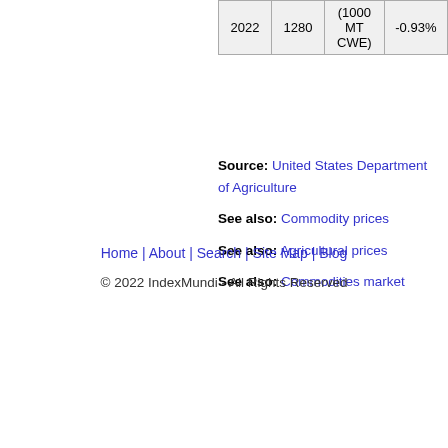| 2022 | 1280 | (1000 MT CWE) | -0.93% |
Source: United States Department of Agriculture
See also: Commodity prices
See also: Agricultural prices
See also: Commodities market
Home | About | Search | Site Map | Blog
© 2022 IndexMundi - All Rights Reserved